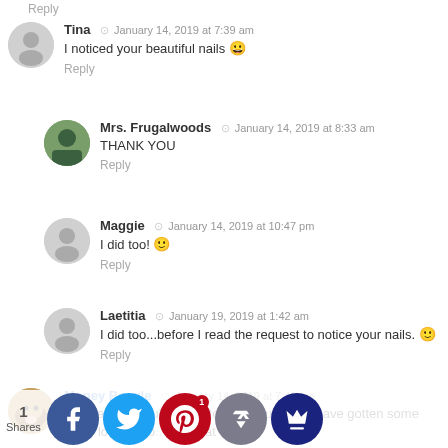Reply
Tina  •  January 14, 2019 at 7:39 am
I noticed your beautiful nails 😀
Reply
Mrs. Frugalwoods  •  January 14, 2019 at 8:33 am
THANK YOU
Reply
Maggie  •  January 14, 2019 at 10:47 pm
I did too! 🙂
Reply
Laetitia  •  January 19, 2019 at 1:42 am
I did too...before I read the request to notice your nails. 🙂
Reply
Money Beagle  •  January 14, 2019 at 7:46 am
Any parent should relate to this. You had to have gotten some s...tic lo...urch b...can t...at the w...ents th...d easily...mber th...ys. Your
1 Shares